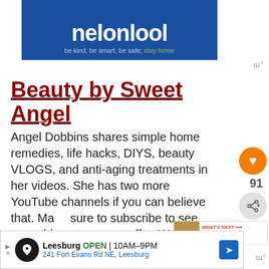[Figure (screenshot): Blue website banner header with white bold text logo 'nelonlool' and tagline 'be kind, be smart, be safe; stay home' with 'stay home' in green]
Beauty by Sweet Angel
Angel Dobbins shares simple home remedies, life hacks, DIYS, beauty VLOGS, and anti-aging treatments in her videos. She has two more YouTube channels if you can believe that. Make sure to subscribe to see everything she has to offer. We loved this video on coconut oil and baking soda as a beauty hack.
[Figure (screenshot): Bottom advertisement banner: Leesburg OPEN 10AM-9PM, 241 Fort Evans Rd NE, Leesburg with navigation arrow icon]